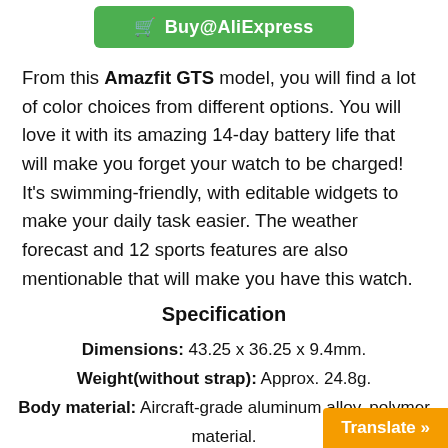[Figure (other): Green Buy@AliExpress button with cart icon]
From this Amazfit GTS model, you will find a lot of color choices from different options. You will love it with its amazing 14-day battery life that will make you forget your watch to be charged! It's swimming-friendly, with editable widgets to make your daily task easier. The weather forecast and 12 sports features are also mentionable that will make you have this watch.
Specification
Dimensions: 43.25 x 36.25 x 9.4mm.
Weight(without strap): Approx. 24.8g.
Body material: Aircraft-grade aluminum alloy, polymer material.
Waterproof rating: 5AT